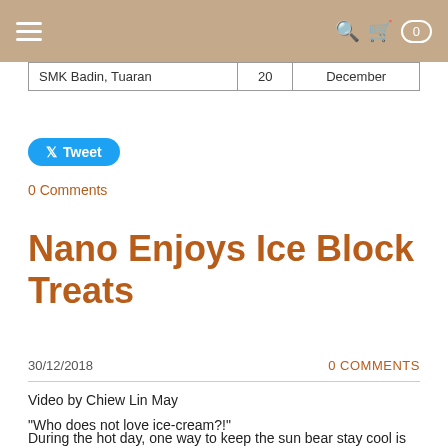≡   🔍 🛒 0
| SMK Badin, Tuaran | 20 | December |
[Figure (other): Tweet button (Twitter/X social share button)]
0 Comments
Nano Enjoys Ice Block Treats
30/12/2018    0 COMMENTS
Video by Chiew Lin May
"Who does not love ice-cream?!"
During the hot day, one way to keep the sun bear stay cool is